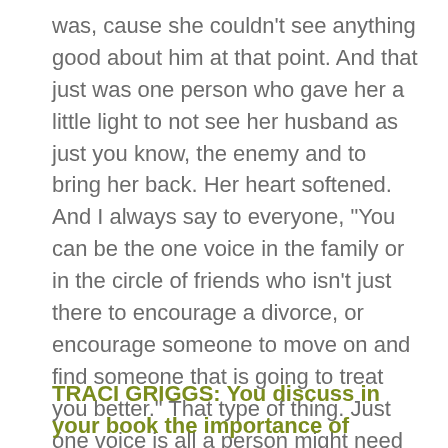was, cause she couldn't see anything good about him at that point. And that just was one person who gave her a little light to not see her husband as just you know, the enemy and to bring her back. Her heart softened. And I always say to everyone, "You can be the one voice in the family or in the circle of friends who isn't just there to encourage a divorce, or encourage someone to move on and find someone that is going to treat you better." That type of thing. Just one voice is all a person might need to save a family, and then redeem the family into something much more beautiful than it even was at the beginning.
TRACI GRIGGS: You discuss in your book the importance of "mourning what is lost," when a